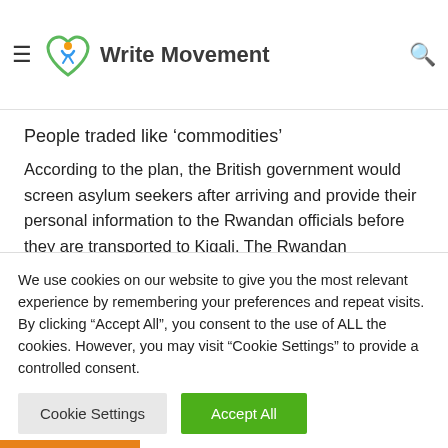Write Movement — navigation bar with hamburger menu and search icon
The plan is not going to decrease the number of dangers, it would increase cruelty and fuel more dangerous refugee journeys, Valdez-Symonds told Al Jazeera
People traded like 'commodities'
According to the plan, the British government would screen asylum seekers after arriving and provide their personal information to the Rwandan officials before they are transported to Kigali. The Rwandan government would deal with the asylum process and, if they are successful, asylum seekers will settle in the country.
We use cookies on our website to give you the most relevant experience by remembering your preferences and repeat visits. By clicking "Accept All", you consent to the use of ALL the cookies. However, you may visit "Cookie Settings" to provide a controlled consent.